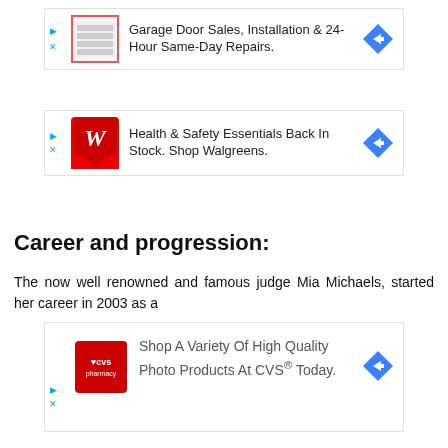[Figure (screenshot): Advertisement banner for Garage Door Sales, Installation & 24-Hour Same-Day Repairs with logo and arrow icon]
[Figure (screenshot): Advertisement banner for Health & Safety Essentials Back In Stock. Shop Walgreens with Walgreens logo and arrow icon]
Career and progression:
The now well renowned and famous judge Mia Michaels, started her career in 2003 as a
[Figure (screenshot): Advertisement banner for Shop A Variety Of High Quality Photo Products At CVS® Today with CVS pharmacy logo and arrow icon]